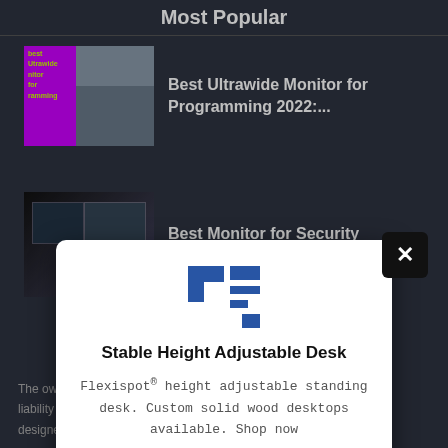Most Popular
Best Ultrawide Monitor for Programming 2022:...
Best Monitor for Security Cameras In 2022!
[Figure (screenshot): Modal advertisement popup for Flexispot Stable Height Adjustable Desk with logo, description and Shop Now button, overlaying a dark-themed website listing monitors]
Stable Height Adjustable Desk
Flexispot® height adjustable standing desk. Custom solid wood desktops available. Shop now
Shop Now
The own... s Limited liability c... program designed t... advertising